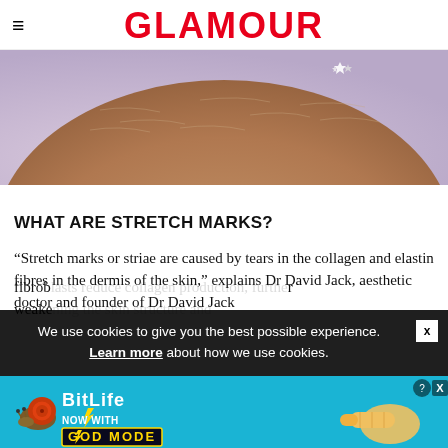GLAMOUR
[Figure (photo): Close-up photo of skin showing stretch marks on what appears to be a rounded body area such as a belly or thigh, with a small decorative crystal/jewel accessory visible at the top]
WHAT ARE STRETCH MARKS?
“Stretch marks or striae are caused by tears in the collagen and elastin fibres in the dermis of the skin,” explains Dr David Jack, aesthetic doctor and founder of Dr David Jack
fibrob... r weake...
We use cookies to give you the best possible experience. Learn more about how we use cookies.
[Figure (advertisement): BitLife game advertisement banner with teal background showing a snail mascot, BitLife logo, 'NOW WITH GOD MODE' text in yellow, lightning bolt graphic, and a hand pointing, with close/help buttons]